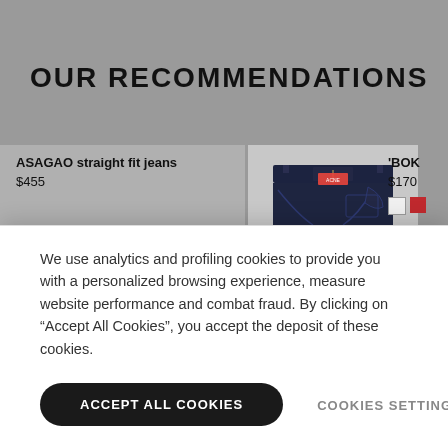OUR RECOMMENDATIONS
ASAGAO straight fit jeans
$455
[Figure (photo): Dark indigo straight fit jeans product photo on grey background]
'BOK
$170
We use analytics and profiling cookies to provide you with a personalized browsing experience, measure website performance and combat fraud. By clicking on “Accept All Cookies”, you accept the deposit of these cookies.
ACCEPT ALL COOKIES
COOKIES SETTINGS